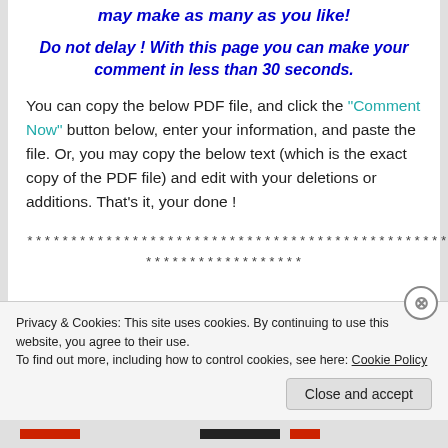may make as many as you like!
Do not delay ! With this page you can make your comment in less than 30 seconds.
You can copy the below PDF file, and click the "Comment Now" button below, enter your information, and paste the file. Or, you may copy the below text (which is the exact copy of the PDF file) and edit with your deletions or additions. That’s it, your done !
**************************************************
******************
Privacy & Cookies: This site uses cookies. By continuing to use this website, you agree to their use.
To find out more, including how to control cookies, see here: Cookie Policy
Close and accept